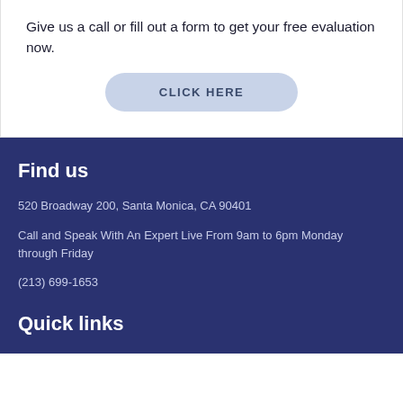Give us a call or fill out a form to get your free evaluation now.
[Figure (other): CLICK HERE button with rounded pill shape in light blue-grey color]
Find us
520 Broadway 200, Santa Monica, CA 90401
Call and Speak With An Expert Live From 9am to 6pm Monday through Friday
(213) 699-1653
Quick links